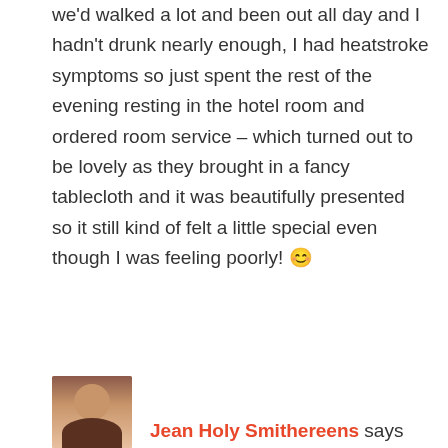we'd walked a lot and been out all day and I hadn't drunk nearly enough, I had heatstroke symptoms so just spent the rest of the evening resting in the hotel room and ordered room service – which turned out to be lovely as they brought in a fancy tablecloth and it was beautifully presented so it still kind of felt a little special even though I was feeling poorly! 😊
Reply
[Figure (photo): Avatar photo of commenter Jean Holy Smithereens, showing a woman's face, partial view at bottom of page]
Jean Holy Smithereens says